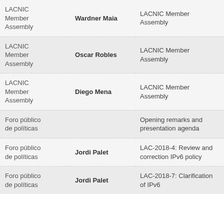| Session | Speaker | Topic |
| --- | --- | --- |
| LACNIC Member Assembly | Wardner Maia | LACNIC Member Assembly |
| LACNIC Member Assembly | Oscar Robles | LACNIC Member Assembly |
| LACNIC Member Assembly | Diego Mena | LACNIC Member Assembly |
| Foro público de políticas |  | Opening remarks and presentation agenda |
| Foro público de políticas | Jordi Palet | LAC-2018-4: Review and correction IPv6 policy |
| Foro público de políticas | Jordi Palet | LAC-2018-7: Clarification of IPv6 |